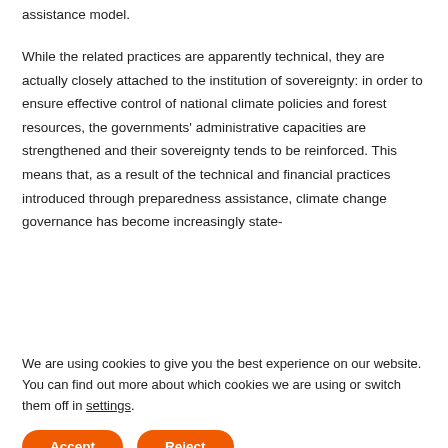assistance model.
While the related practices are apparently technical, they are actually closely attached to the institution of sovereignty: in order to ensure effective control of national climate policies and forest resources, the governments' administrative capacities are strengthened and their sovereignty tends to be reinforced. This means that, as a result of the technical and financial practices introduced through preparedness assistance, climate change governance has become increasingly state-
We are using cookies to give you the best experience on our website.
You can find out more about which cookies we are using or switch them off in settings.
Accept
Reject